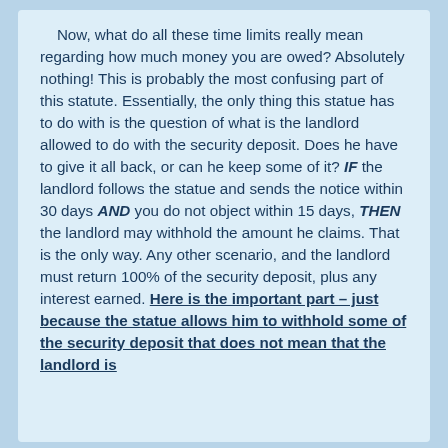Now, what do all these time limits really mean regarding how much money you are owed? Absolutely nothing! This is probably the most confusing part of this statute. Essentially, the only thing this statue has to do with is the question of what is the landlord allowed to do with the security deposit. Does he have to give it all back, or can he keep some of it? IF the landlord follows the statue and sends the notice within 30 days AND you do not object within 15 days, THEN the landlord may withhold the amount he claims. That is the only way. Any other scenario, and the landlord must return 100% of the security deposit, plus any interest earned. Here is the important part – just because the statue allows him to withhold some of the security deposit that does not mean that the landlord is entitled to keep that...